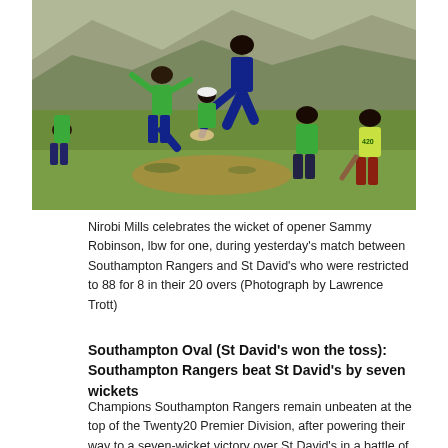[Figure (photo): Cricket match photo showing Nirobi Mills celebrating the wicket of opener Sammy Robinson, lbw for one, during a match between Southampton Rangers and St David's. Players in green jerseys on a cricket field with rocky background.]
Nirobi Mills celebrates the wicket of opener Sammy Robinson, lbw for one, during yesterday's match between Southampton Rangers and St David's who were restricted to 88 for 8 in their 20 overs (Photograph by Lawrence Trott)
Southampton Oval (St David's won the toss): Southampton Rangers beat St David's by seven wickets
Champions Southampton Rangers remain unbeaten at the top of the Twenty20 Premier Division, after powering their way to a seven-wicket victory over St David's in a battle of last year's top two teams.